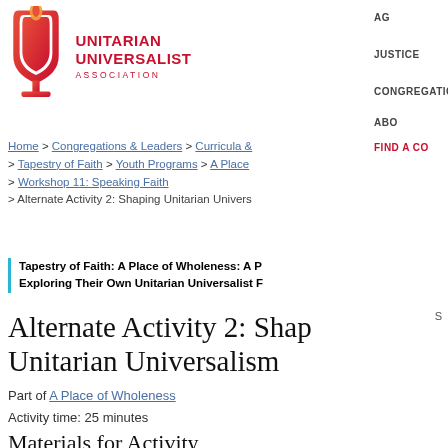[Figure (logo): Unitarian Universalist Association logo with UU chalice icon in red/orange gradient and text UNITARIAN UNIVERSALIST ASSOCIATION]
AG
JUSTICE
CONGREGATION
ABO
FIND A CO
Home > Congregations & Leaders > Curricula & > Tapestry of Faith > Youth Programs > A Place > Workshop 11: Speaking Faith > Alternate Activity 2: Shaping Unitarian Univers
Tapestry of Faith: A Place of Wholeness: A P Exploring Their Own Unitarian Universalist F
Alternate Activity 2: Shaping Unitarian Universalism
Part of A Place of Wholeness
Activity time: 25 minutes
Materials for Activity